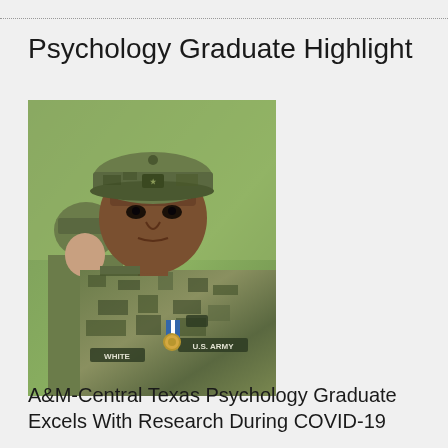Psychology Graduate Highlight
[Figure (photo): A U.S. Army soldier (name tag: WHITE) in camouflage uniform wearing a medal with a blue and white ribbon and a badge, standing at attention in front of a blurred green background. Another soldier is partially visible to the left.]
A&M-Central Texas Psychology Graduate Excels With Research During COVID-19